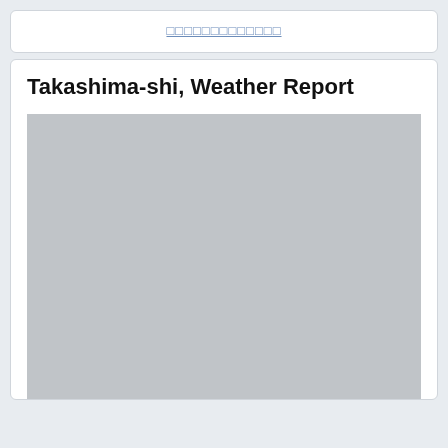□□□□□□□□□□□□□
Takashima-shi, Weather Report
[Figure (photo): Large gray placeholder image area for weather report content]